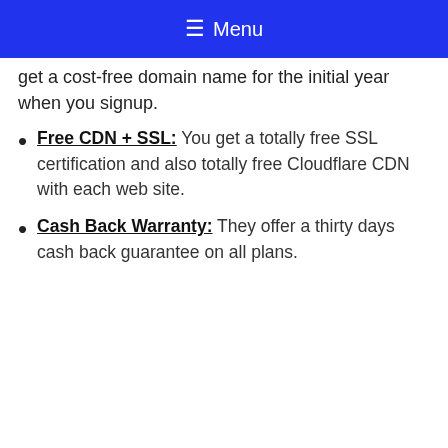≡ Menu
get a cost-free domain name for the initial year when you signup.
Free CDN + SSL: You get a totally free SSL certification and also totally free Cloudflare CDN with each web site.
Cash Back Warranty: They offer a thirty days cash back guarantee on all plans.